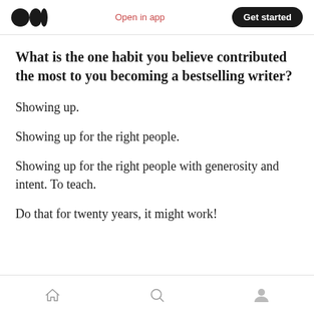Open in app | Get started
What is the one habit you believe contributed the most to you becoming a bestselling writer?
Showing up.
Showing up for the right people.
Showing up for the right people with generosity and intent. To teach.
Do that for twenty years, it might work!
Home | Search | Profile